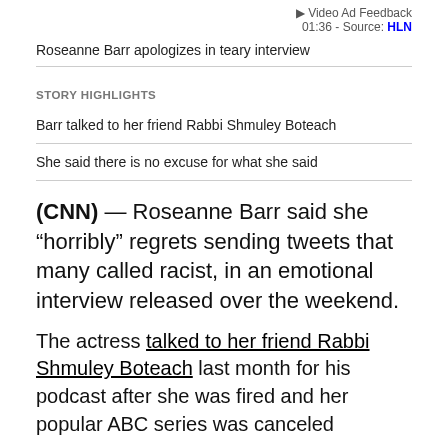Video Ad Feedback
01:36 - Source: HLN
Roseanne Barr apologizes in teary interview
STORY HIGHLIGHTS
Barr talked to her friend Rabbi Shmuley Boteach
She said there is no excuse for what she said
(CNN) — Roseanne Barr said she “horribly” regrets sending tweets that many called racist, in an emotional interview released over the weekend.
The actress talked to her friend Rabbi Shmuley Boteach last month for his podcast after she was fired and her popular ABC series was canceled